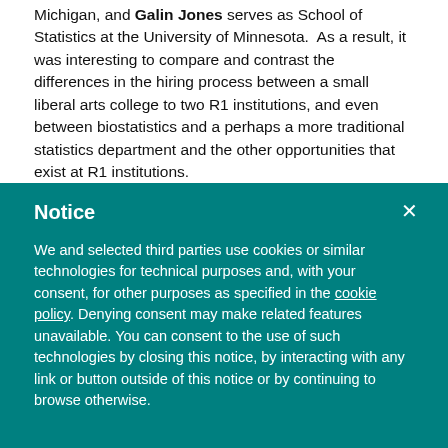Michigan, and Galin Jones serves as School of Statistics at the University of Minnesota. As a result, it was interesting to compare and contrast the differences in the hiring process between a small liberal arts college to two R1 institutions, and even between biostatistics and a perhaps a more traditional statistics department and the other opportunities that exist at R1 institutions.
Dick De Veaux (Williams College) started his comments encouraging those on the job market to reflect on what it is they want out of a position in academia in the first place. He expressed the importance of being able to truthfully come to terms with these fundamental questions as a critical part of a job search, thinking about the short term but also longer term as well. He then provided advice and comments about how and
Notice
We and selected third parties use cookies or similar technologies for technical purposes and, with your consent, for other purposes as specified in the cookie policy. Denying consent may make related features unavailable. You can consent to the use of such technologies by closing this notice, by interacting with any link or button outside of this notice or by continuing to browse otherwise.